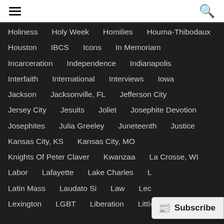≡ (menu icon) and 🔍 (search icon)
Holiness   Holy Week   Homilies   Houma-Thibodaux
Houston   IBCS   Icons   In Memoriam
Incarceration   Independence   Indianapolis
Interfaith   International   Interviews   Iowa
Jackson   Jacksonville, FL   Jefferson City
Jersey City   Jesuits   Joliet   Josephite Devotion
Josephites   Julia Greeley   Juneteenth   Justice
Kansas City, KS   Kansas City, MO
Knights Of Peter Claver   Kwanzaa   La Crosse, WI
Labor   Lafayette   Lake Charles   L[cut off]
Latin Mass   Laudato Si   Law   Lec[cut off]
Lexington   LGBT   Liberation   Little Rock   Liturgy